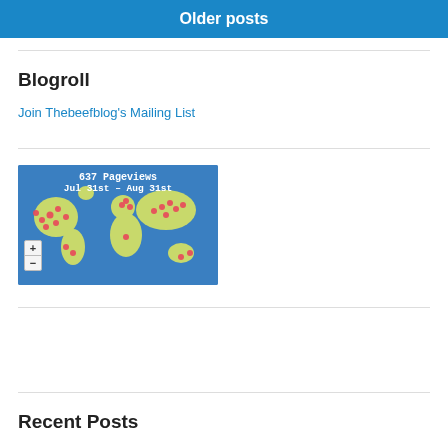Older posts
Blogroll
Join Thebeefblog's Mailing List
[Figure (map): World map showing 637 pageviews Jul 31st – Aug 31st with red dots marking visitor locations across continents]
Recent Posts